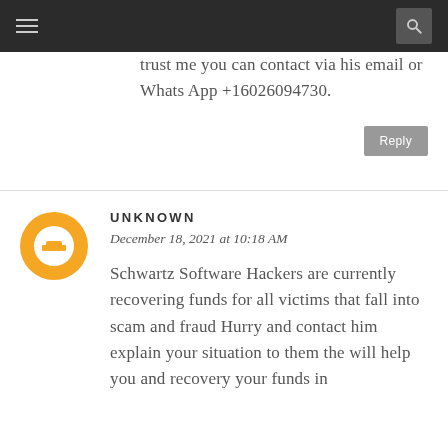Navigation bar with menu and search icons
trust me you can contact via his email or Whats App +16026094730.
Reply
UNKNOWN
December 18, 2021 at 10:18 AM
Schwartz Software Hackers are currently recovering funds for all victims that fall into scam and fraud Hurry and contact him explain your situation to them the will help you and recovery your funds in